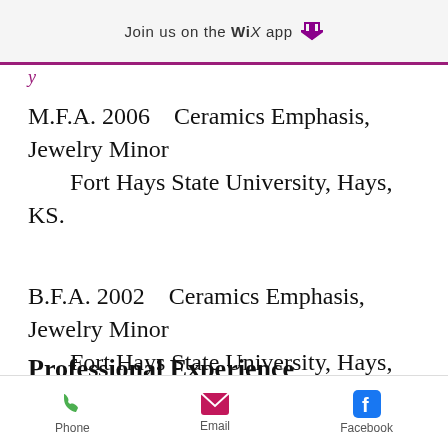Join us on the WiX app
M.F.A. 2006    Ceramics Emphasis, Jewelry Minor
        Fort Hays State University, Hays, KS.
B.F.A. 2002    Ceramics Emphasis, Jewelry Minor
        Fort Hays State University, Hays, KS.
Professional Experience
Phone   Email   Facebook